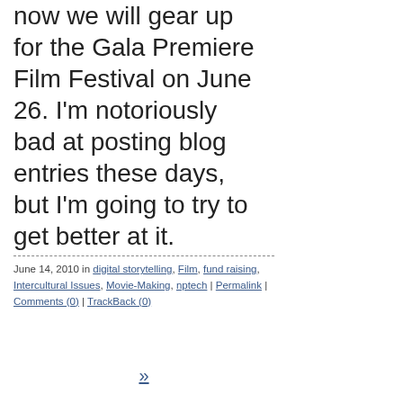now we will gear up for the Gala Premiere Film Festival on June 26. I'm notoriously bad at posting blog entries these days, but I'm going to try to get better at it.
June 14, 2010 in digital storytelling, Film, fund raising, Intercultural Issues, Movie-Making, nptech | Permalink | Comments (0) | TrackBack (0)
»